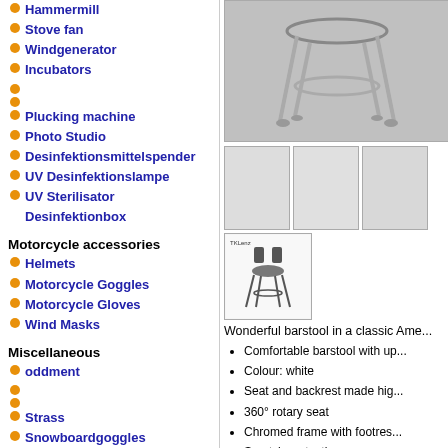Hammermill
Stove fan
Windgenerator
Incubators
Plucking machine
Photo Studio
Desinfektionsmittelspender
UV Desinfektionslampe
UV Sterilisator Desinfektionbox
Motorcycle accessories
Helmets
Motorcycle Goggles
Motorcycle Gloves
Wind Masks
Miscellaneous
oddment
Strass
Snowboardgoggles
Consuming materials
Others
Search
[Figure (photo): Main product photo of a chrome barstool]
[Figure (photo): Three thumbnail images of the barstool]
[Figure (photo): Bottom thumbnail with barstool line drawing]
Wonderful barstool in a classic Ame...
Comfortable barstool with up...
Colour: white
Seat and backrest made hig...
360° rotary seat
Chromed frame with footres...
Scratch protection
ISO 9001:2000 certified
Capacity: 130kg